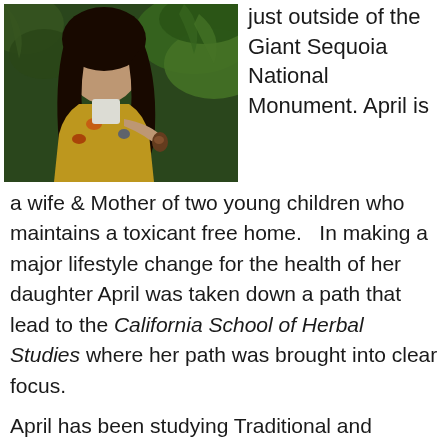[Figure (photo): Woman with long dark hair holding green fern branches, wearing a colorful floral jacket]
just outside of the Giant Sequoia National Monument.  April is a wife & Mother of two young children who maintains a toxicant free home.   In making a major lifestyle change for the health of her daughter April was taken down a path that lead to the California School of Herbal Studies where her path was brought into clear focus.
April has been studying Traditional and Humoral Western Herbalism for 5 years and is